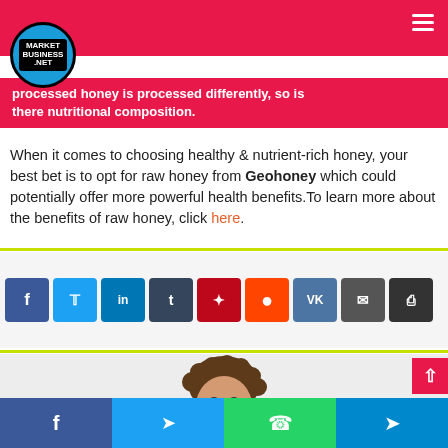Market Business .NET
something bad for your body.
processed honey is processed differently, so is there nutritional composition. When it comes to choosing healthy & nutrient-rich honey, your best bet is to opt for raw honey from Geohoney which could potentially offer more powerful health benefits. To learn more about the benefits of raw honey, click here.
[Figure (infographic): Social share buttons: Facebook, Twitter, LinkedIn, Tumblr, Pinterest, Reddit, VK, Email, Print]
[Figure (photo): Author photo: smiling man with curly hair]
[Figure (infographic): Bottom share bar with Facebook, Twitter, WhatsApp, Telegram icons]